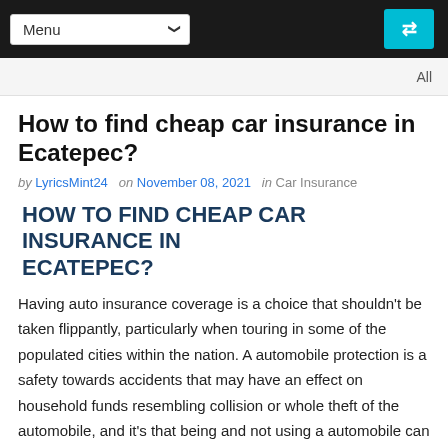Menu
All
How to find cheap car insurance in Ecatepec?
by LyricsMint24 on November 08, 2021 in Car Insurance
HOW TO FIND CHEAP CAR INSURANCE IN ECATEPEC?
Having auto insurance coverage is a choice that shouldn't be taken flippantly, particularly when touring in some of the populated cities within the nation. A automobile protection is a safety towards accidents that may have an effect on household funds resembling collision or whole theft of the automobile, and it's that being and not using a automobile can imply compromising the earnings of many individuals who use their